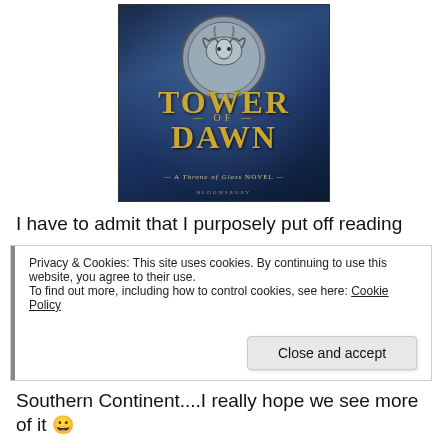[Figure (illustration): Book cover of 'Tower of Dawn: A Throne of Glass Novel' by Bloomsbury. Features a silver shield/medallion with a horned creature emblem on a dark blue misty background, with golden text for the title.]
I have to admit that I purposely put off reading
Privacy & Cookies: This site uses cookies. By continuing to use this website, you agree to their use.
To find out more, including how to control cookies, see here: Cookie Policy
Close and accept
Southern Continent....I really hope we see more of it 😀